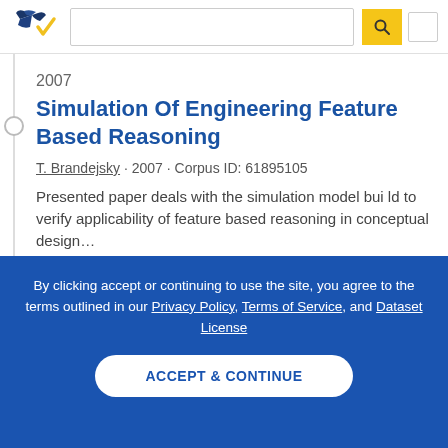[Figure (logo): Semantic Scholar logo – stylized book pages in navy and gold with a checkmark]
2007
Simulation Of Engineering Feature Based Reasoning
T. Brandejsky · 2007 · Corpus ID: 61895105
Presented paper deals with the simulation model bui ld to verify applicability of feature based reasoning in conceptual design…
By clicking accept or continuing to use the site, you agree to the terms outlined in our Privacy Policy, Terms of Service, and Dataset License
ACCEPT & CONTINUE